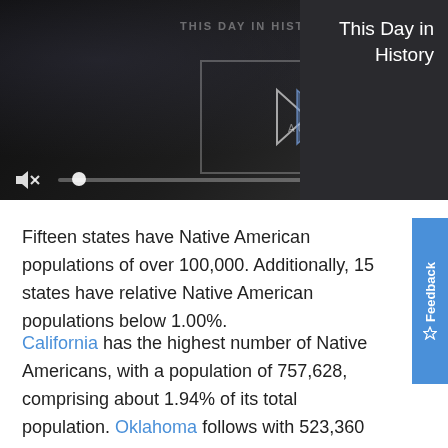[Figure (screenshot): Video player with dark background showing 'This Day in History' player interface. Includes play/skip controls, AUGUST label, mute icon, progress bar with thumb, fullscreen button, three-dot menu, and close X button.]
This Day in History
Fifteen states have Native American populations of over 100,000. Additionally, 15 states have relative Native American populations below 1.00%.
California has the highest number of Native Americans, with a population of 757,628, comprising about 1.94% of its total population. Oklahoma follows with 523,360 Native Americans (13.36%)and Arizona with 391,620 (5.64%).